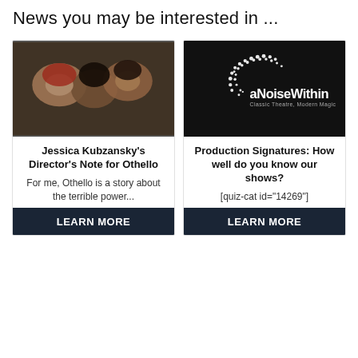News you may be interested in ...
[Figure (photo): Overhead photo of actors lying together, theatrical production photo for Othello]
Jessica Kubzansky's Director's Note for Othello
For me, Othello is a story about the terrible power...
[Figure (logo): a Noise Within logo — white dot pattern and text on black background, Classic Theatre, Modern Magic]
Production Signatures: How well do you know our shows?
[quiz-cat id="14269"]